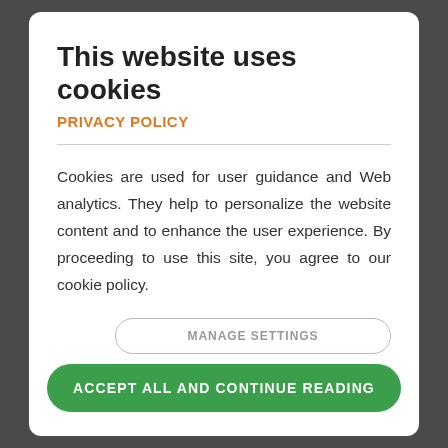This website uses cookies
PRIVACY POLICY
Cookies are used for user guidance and Web analytics. They help to personalize the website content and to enhance the user experience. By proceeding to use this site, you agree to our cookie policy.
MANAGE SETTINGS
ACCEPT ALL AND CONTINUE READING